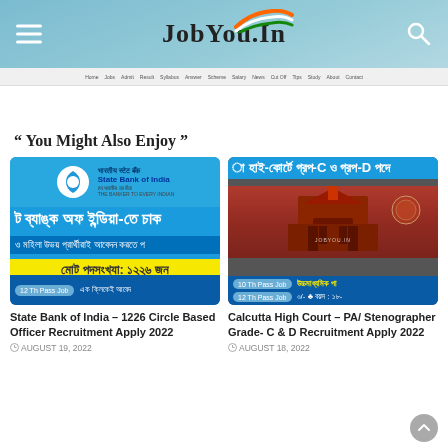JobYou.In
You Might Also Enjoy
[Figure (photo): State Bank of India recruitment card with Bengali text and SBI logo]
State Bank of India – 1226 Circle Based Officer Recruitment Apply 2022
AUGUST 19, 2022
[Figure (photo): Calcutta High Court recruitment card with building image and Bengali text]
Calcutta High Court – PA/ Stenographer Grade- C & D Recruitment Apply 2022
AUGUST 18, 2022